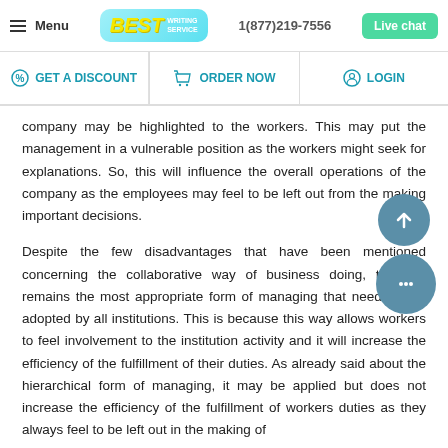Menu | BEST WRITING SERVICE | 1(877)219-7556 | Live chat
GET A DISCOUNT | ORDER NOW | LOGIN
company may be highlighted to the workers. This may put the management in a vulnerable position as the workers might seek for explanations. So, this will influence the overall operations of the company as the employees may feel to be left out from the making important decisions.
Despite the few disadvantages that have been mentioned concerning the collaborative way of business doing, this still remains the most appropriate form of managing that needs to be adopted by all institutions. This is because this way allows workers to feel involvement to the institution activity and it will increase the efficiency of the fulfillment of their duties. As already said about the hierarchical form of managing, it may be applied but does not increase the efficiency of the fulfillment of workers duties as they always feel to be left out in the making of